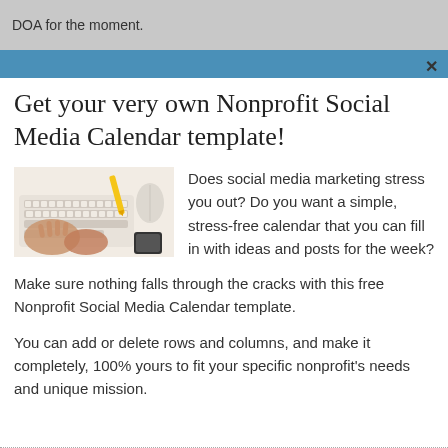DOA for the moment.
Get your very own Nonprofit Social Media Calendar template!
[Figure (photo): Overhead photo of hands typing on a white keyboard with a yellow pen and phone on a white desk]
Does social media marketing stress you out? Do you want a simple, stress-free calendar that you can fill in with ideas and posts for the week?
Make sure nothing falls through the cracks with this free Nonprofit Social Media Calendar template.
You can add or delete rows and columns, and make it completely, 100% yours to fit your specific nonprofit's needs and unique mission.